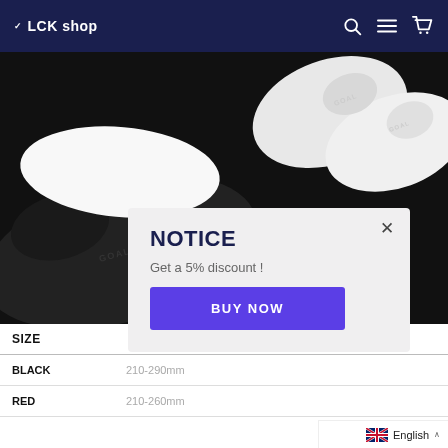LCK shop
[Figure (photo): Product photo of black and white slide sandals on black background with 'COLOR | BLACK' badge label in the center]
| SIZE |  |
| --- | --- |
| BLACK | 210-290mm |
| RED | 210-260mm |
NOTICE
Get a 5% discount !
BUY NOW
English